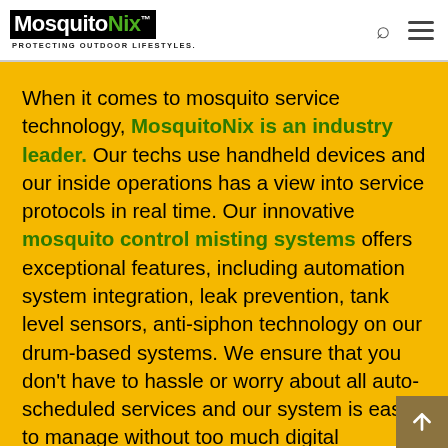MosquitoNix PROTECTING OUTDOOR LIFESTYLES.
When it comes to mosquito service technology, MosquitoNix is an industry leader. Our techs use handheld devices and our inside operations has a view into service protocols in real time. Our innovative mosquito control misting systems offers exceptional features, including automation system integration, leak prevention, tank level sensors, anti-siphon technology on our drum-based systems. We ensure that you don't have to hassle or worry about all auto-scheduled services and our system is easy to manage without too much digital interference common with overly complex features that ultimately breakdown, leaving you without control of your yard. You'll receive automated service texts or e-mails, making the process simple, yet